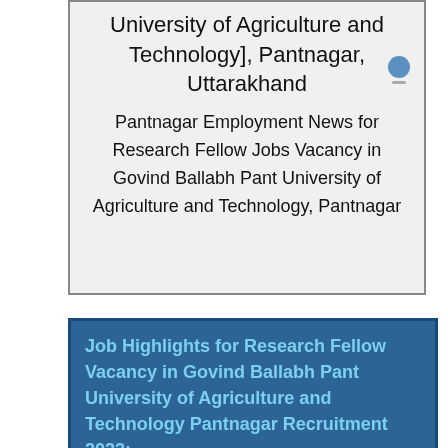University of Agriculture and Technology], Pantnagar, Uttarakhand
Pantnagar Employment News for Research Fellow Jobs Vacancy in Govind Ballabh Pant University of Agriculture and Technology, Pantnagar
Job Highlights for Research Fellow Vacancy in Govind Ballabh Pant University of Agriculture and Technology Pantnagar Recruitment 2022: